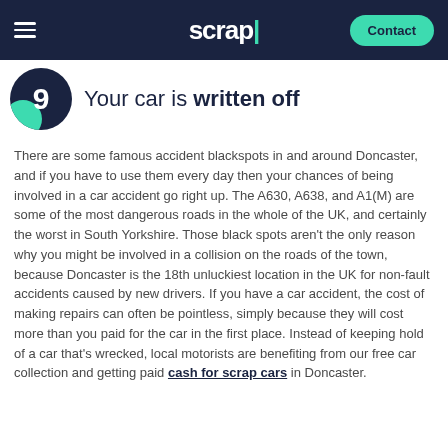scrapi | Contact
Your car is written off
There are some famous accident blackspots in and around Doncaster, and if you have to use them every day then your chances of being involved in a car accident go right up. The A630, A638, and A1(M) are some of the most dangerous roads in the whole of the UK, and certainly the worst in South Yorkshire. Those black spots aren't the only reason why you might be involved in a collision on the roads of the town, because Doncaster is the 18th unluckiest location in the UK for non-fault accidents caused by new drivers. If you have a car accident, the cost of making repairs can often be pointless, simply because they will cost more than you paid for the car in the first place. Instead of keeping hold of a car that's wrecked, local motorists are benefiting from our free car collection and getting paid cash for scrap cars in Doncaster.